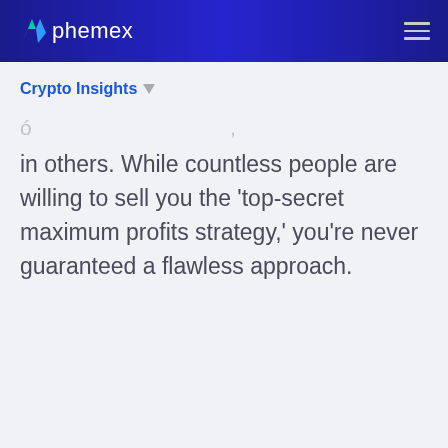phemex
Crypto Insights
in others. While countless people are willing to sell you the ‘top-secret maximum profits strategy,’ you’re never guaranteed a flawless approach.